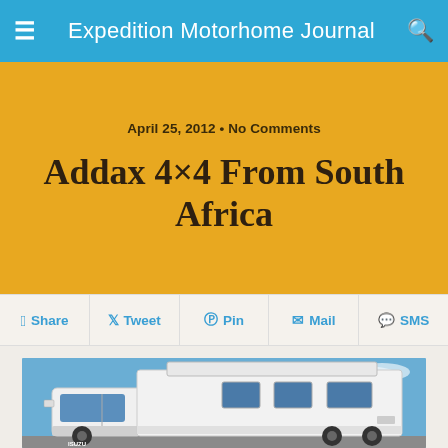Expedition Motorhome Journal
April 25, 2012 • No Comments
Addax 4×4 From South Africa
Share   Tweet   Pin   Mail   SMS
[Figure (photo): White expedition motorhome/RV on an Isuzu 4x4 truck chassis photographed against a blue sky. The vehicle has a large living module mounted on the truck bed with multiple windows. The truck cab is white with large side mirrors visible.]